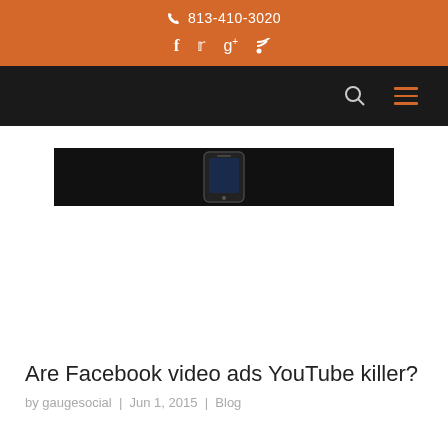📞 813-410-3020
f  t  g+  RSS
[Figure (screenshot): Black navigation bar with search icon and hamburger menu in orange]
[Figure (photo): Dark/black banner image showing a smartphone partially visible against a black background]
Are Facebook video ads YouTube killer?
by gaugesocial | Jun 1, 2015 | Blog